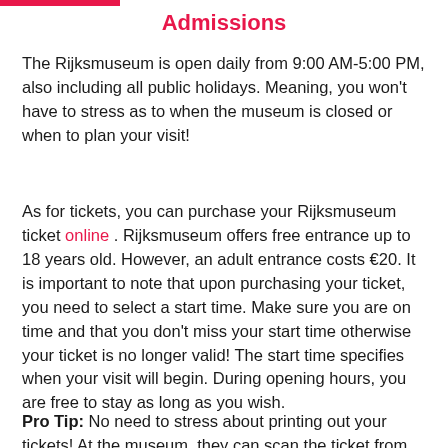Admissions
The Rijksmuseum is open daily from 9:00 AM-5:00 PM, also including all public holidays. Meaning, you won't have to stress as to when the museum is closed or when to plan your visit!
As for tickets, you can purchase your Rijksmuseum ticket online . Rijksmuseum offers free entrance up to 18 years old. However, an adult entrance costs €20. It is important to note that upon purchasing your ticket, you need to select a start time. Make sure you are on time and that you don't miss your start time otherwise your ticket is no longer valid! The start time specifies when your visit will begin. During opening hours, you are free to stay as long as you wish.
Pro Tip: No need to stress about printing out your tickets! At the museum, they can scan the ticket from your mobile.